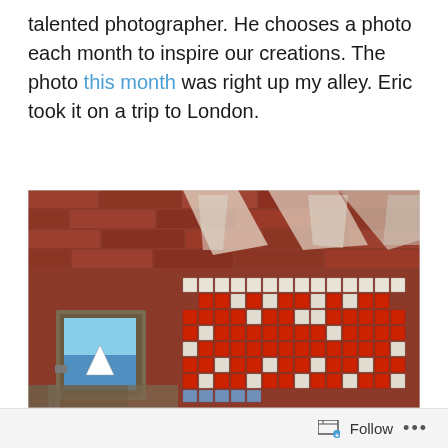talented photographer. He chooses a photo each month to inspire our creations. The photo this month was right up my alley. Eric took it on a trip to London.
[Figure (photo): Street art photo on a brick wall in London. Shows a pixelated Space Invader mosaic made of red and white tiles on a red brick wall. On the left side is a small framed tile artwork depicting a shark fin (Jaws movie reference). Metal pipes visible on the left. The Space Invader mosaic is made from ceramic tiles arranged in a pixel art pattern.]
Follow ...